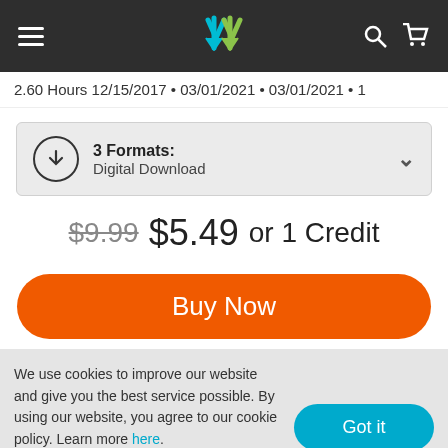Navigation bar with hamburger menu, logo, search and cart icons
2.60 Hours 12/15/2017 • 03/01/2021 • 03/01/2021 • 1
3 Formats: Digital Download
$9.99 $5.49 or 1 Credit
Buy Now
We use cookies to improve our website and give you the best service possible. By using our website, you agree to our cookie policy. Learn more here.